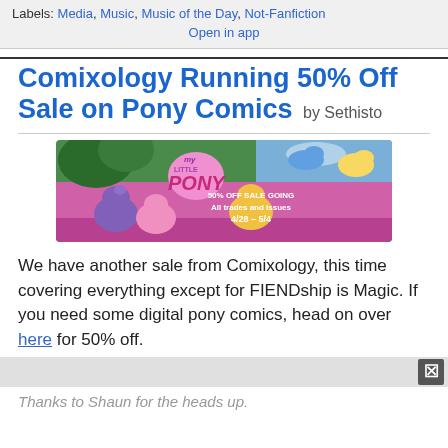Labels: Media, Music, Music of the Day, Not-Fanfiction
Open in app
Comixology Running 50% Off Sale on Pony Comics by Sethisto
[Figure (illustration): My Little Pony promotional comic sale banner showing colorful pony characters with 50% off sale text dated 4/28 - 5/4]
We have another sale from Comixology, this time covering everything except for FIENDship is Magic. If you need some digital pony comics, head on over here for 50% off.
Thanks to Shaun for the heads up.